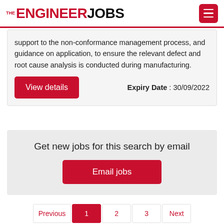THE ENGINEER JOBS
support to the non-conformance management process, and guidance on application, to ensure the relevant defect and root cause analysis is conducted during manufacturing.
Expiry Date : 30/09/2022
View details
Get new jobs for this search by email
Email jobs
Previous 1 2 3 Next